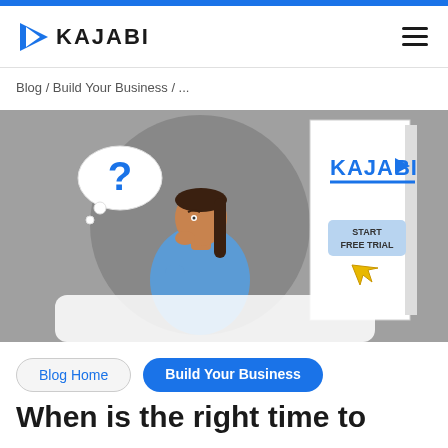KAJABI
Blog / Build Your Business / ...
[Figure (illustration): Illustration of a woman with a thought bubble containing a question mark, looking at a Kajabi webpage with a 'START FREE TRIAL' button and cursor arrow.]
Blog Home
Build Your Business
When is the right time to